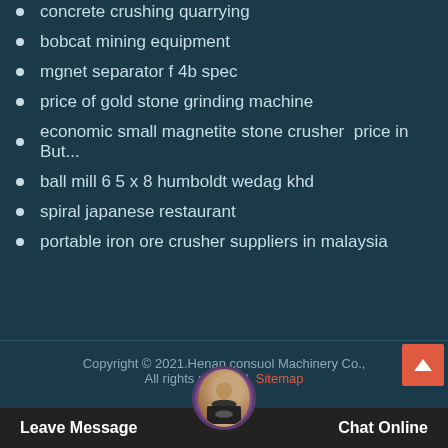concrete crushing quarrying
bobcat mining equipment
mgnet separator f 4b spec
price of gold stone grinding machine
economic small magnetite stone crusher price in But...
ball mill 6 5 x 8 humboldt wedag khd
spiral japanese restaurant
portable iron ore crusher suppliers in malaysia
Copyright © 2021.Henan consuol Machinery Co., All rights reserved. Sitemap
Leave Message   Chat Online